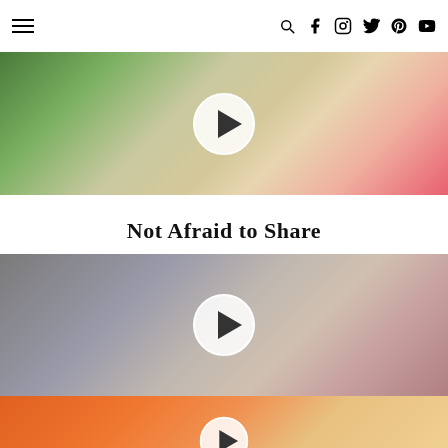Navigation header with hamburger menu and social icons (search, facebook, instagram, twitter, pinterest, youtube)
[Figure (photo): Video thumbnail of a blonde woman with a small white animal (guinea pig), with a plant and pink blur in background. Play button overlay.]
Not Afraid to Share
[Figure (photo): Video thumbnail of a blonde woman sitting on a couch with colorful pillows, making an expression. Play button overlay.]
[Figure (photo): Video thumbnail showing a person near an orange fox plush/stuffed animal costume. Play button overlay partially visible.]